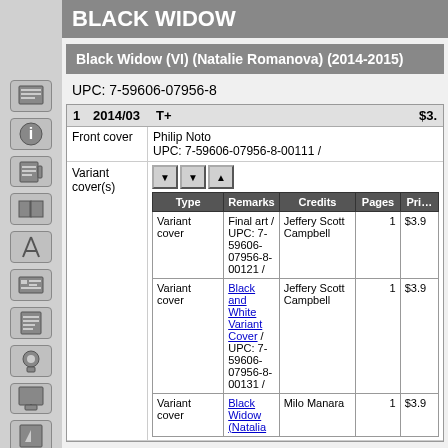BLACK WIDOW
Black Widow (VI) (Natalie Romanova) (2014-2015)
UPC: 7-59606-07956-8
| # | Date | Rating | Price |
| --- | --- | --- | --- |
| 1 | 2014/03 | T+ | $3. |
| Type | Remarks | Credits | Pages | Price |
| --- | --- | --- | --- | --- |
| Variant cover | Final art / UPC: 7-59606-07956-8-00121 / | Jeffery Scott Campbell | 1 | $3.9 |
| Variant cover | Black and White Variant Cover / UPC: 7-59606-07956-8-00131 / | Jeffery Scott Campbell | 1 | $3.9 |
| Variant cover | Black Widow (Natalia | Milo Manara | 1 | $3.9 |